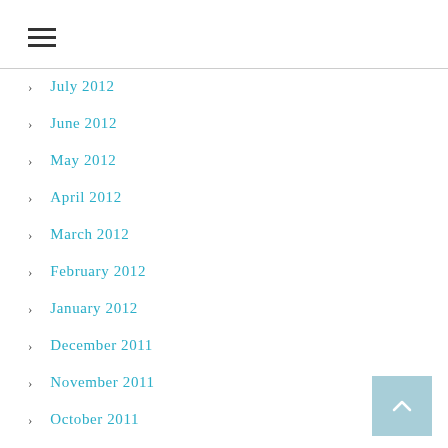☰
July 2012
June 2012
May 2012
April 2012
March 2012
February 2012
January 2012
December 2011
November 2011
October 2011
September 2011
August 2011
July 2011
June 2011